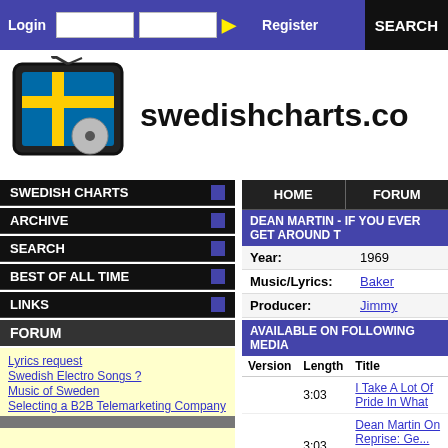Login | [input] [input] >> | Register | SEARCH
[Figure (logo): Swedishcharts.com logo with Swedish flag TV icon]
SWEDISH CHARTS
ARCHIVE
SEARCH
BEST OF ALL TIME
LINKS
FORUM
Lyrics request
Swedish Electro Songs ?
Music of Sweden
Selecting a B2B Telemarketing Company
Chart Positions Pre 1976
| HOME | FORUM |
| --- | --- |
DEAN MARTIN - IF YOU EVER GET AROUND TO...
Year: 1969
Music/Lyrics: Baker
Producer: Jimmy
AVAILABLE ON FOLLOWING MEDIA
| Version | Length | Title |
| --- | --- | --- |
|  | 3:03 | I Take A Lot Of Pride In What... |
|  | 3:03 | Dean Martin On Reprise: Ge... Take A Lot Of Pride In What I... |
MUSIC DIRECTORY
Dean Martin - Dean Martin: Disco...
DEAN MARTIN IN SWEDISH CHARTS
Singles
Title
Baby, It's Cold Outside (The Rat Pack)